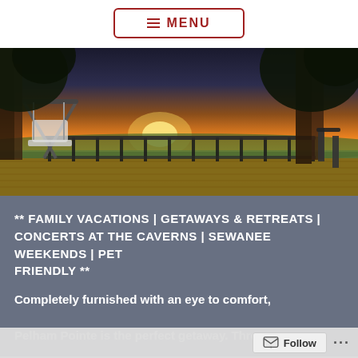≡ MENU
[Figure (photo): Outdoor deck at sunset with a porch swing, black metal railing, trees silhouetted against a colorful orange and yellow sky, overlooking a wide valley landscape.]
** FAMILY VACATIONS | GETAWAYS & RETREATS | CONCERTS AT THE CAVERNS | SEWANEE WEEKENDS | PET FRIENDLY **
Completely furnished with an eye to comfort, Pelham Pointe is the perfect getaway. Three
Follow ...